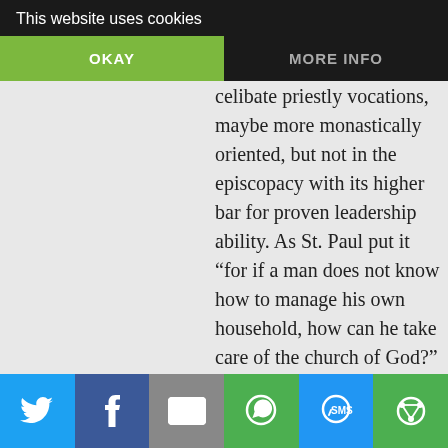This website uses cookies
OKAY   MORE INFO
Anon2650
FEBRUARY 14, 2017 AT 3:16 PM
There are legitimate celibate priestly vocations, maybe more monastically oriented, but not in the episcopacy with its higher bar for proven leadership ability. As St. Paul put it “for if a man does not know how to manage his own household, how can he take care of the church of God?” It is impossible to ignore the